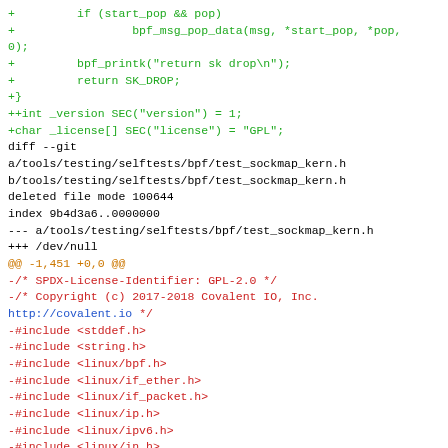git diff code showing additions of bpf_msg_pop_data, return SK_DROP, version/license sections, and deletion of test_sockmap_kern.h with its includes